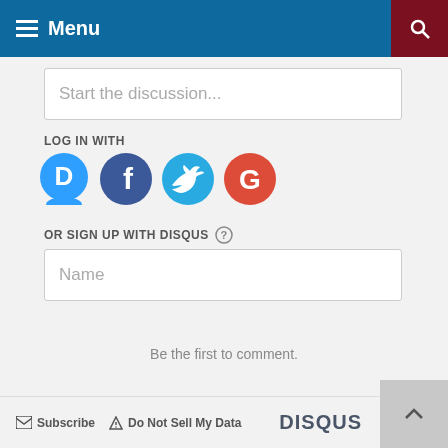Menu
Start the discussion...
LOG IN WITH
[Figure (illustration): Social login icons: Disqus (blue speech bubble with D), Facebook (dark blue circle with f), Twitter (light blue circle with bird), Google (red circle with G)]
OR SIGN UP WITH DISQUS ?
Name
Be the first to comment.
Subscribe   Do Not Sell My Data   DISQUS